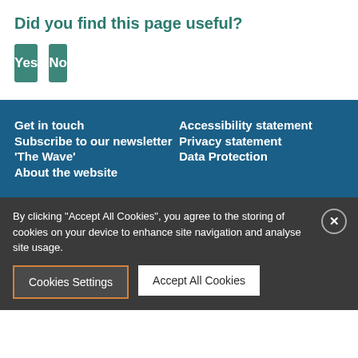Did you find this page useful?
Yes
No
Get in touch
Subscribe to our newsletter ‘The Wave’
About the website
Accessibility statement
Privacy statement
Data Protection
By clicking “Accept All Cookies”, you agree to the storing of cookies on your device to enhance site navigation and analyse site usage.
Cookies Settings
Accept All Cookies